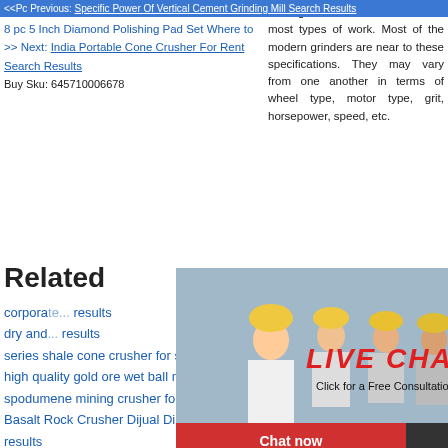<<Pc Previous: Specific Power Of Vertical Cement Grinding Mill Search Results
>> Next: India Portable Cone Crusher For Rent Search Results
Buy Sku: 645710006678
A 60 grit wheel. It is versatile for most types of work. Most of the modern grinders are near to these specifications. They may vary from one another in terms of wheel type, motor type, grit, horsepower, speed, etc.
Related
corporate... results
dry and... results
series shale cone crusher for sale s...
high quality gold ore wet ball mills s...
spodumene mining crusher for sale...
Basalt Rock Crusher Dijual Di Selan... results
high capacity placer gold mining eq... results
lake erie crushers jersey search res...
[Figure (screenshot): Live chat popup with workers in hard hats background, 'LIVE CHAT' title in red italic, 'Click for a Free Consultation' subtitle, Chat now (red) and Chat later (dark) buttons]
[Figure (screenshot): Right sidebar with blue background showing mining equipment image, 'hour online', 'Click me to chat>>', 'Enquiry', 'limingjlmofen' text]